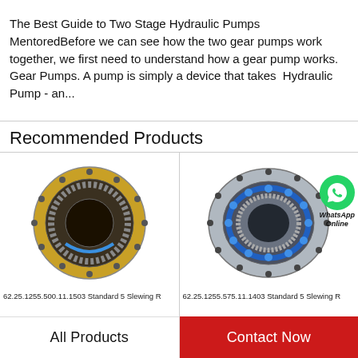The Best Guide to Two Stage Hydraulic Pumps MentoredBefore we can see how the two gear pumps work together, we first need to understand how a gear pump works. Gear Pumps. A pump is simply a device that takes  Hydraulic Pump - an...
Recommended Products
[Figure (photo): Gold/brass-colored slewing ring bearing (circular, with gear teeth on inner ring) - product 62.25.1255.500.11.1503 Standard 5 Slewing R]
62.25.1255.500.11.1503 Standard 5 Slewing R
[Figure (photo): Silver/grey slewing ring bearing with blue colored balls visible and WhatsApp Online badge - product 62.25.1255.575.11.1403 Standard 5 Slewing R]
62.25.1255.575.11.1403 Standard 5 Slewing R
62.25.1255.500.11.1503
62.25.1255.575.11.1403
All Products
Contact Now